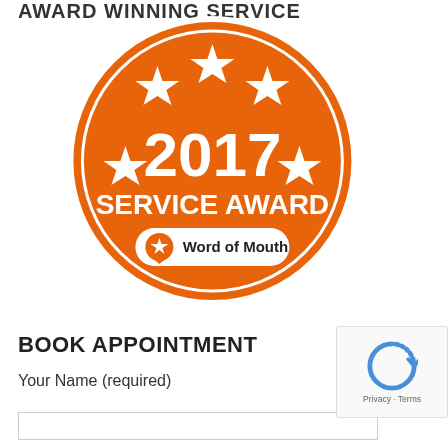AWARD WINNING SERVICE
[Figure (logo): 2017 Service Award badge from Word of Mouth. Orange circular badge with white stars and text reading '2017 SERVICE AWARD' with a Word of Mouth logo at the bottom.]
BOOK APPOINTMENT
Your Name (required)